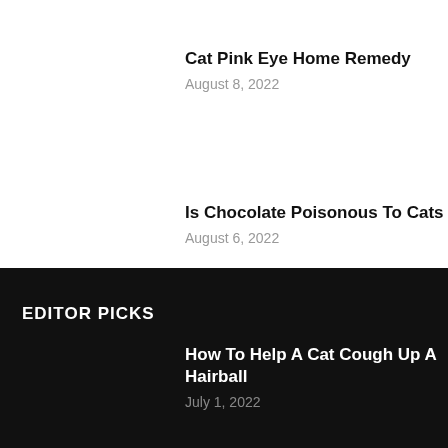Cat Pink Eye Home Remedy
August 8, 2022
Is Chocolate Poisonous To Cats
August 6, 2022
EDITOR PICKS
How To Help A Cat Cough Up A Hairball
July 1, 2022